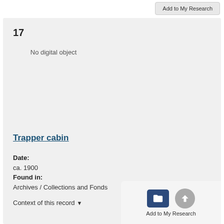Add to My Research
17
No digital object
Trapper cabin
Date:
ca. 1900
Found in:
Archives / Collections and Fonds
Context of this record ▼
Add to My Research